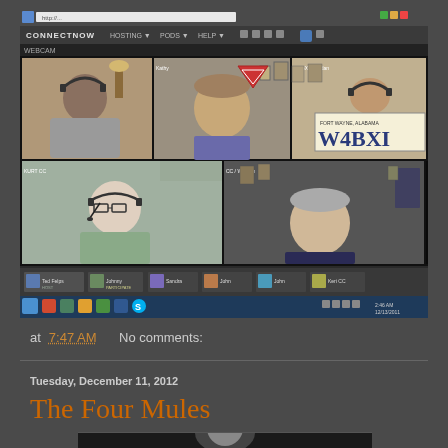[Figure (screenshot): Screenshot of a video conferencing application (appears to be Adobe Connect or similar) showing a webcam session with 5 participants in a grid layout. One participant holds a sign reading 'W4BXI FORT WAYNE, ALABAMA'. The application window shows a browser with Windows 7 taskbar at the bottom.]
at 7:47 AM   No comments:
Tuesday, December 11, 2012
The Four Mules
[Figure (photo): Partially visible photo at the bottom of the page, cropped, appears to show a person in black and white or low light.]